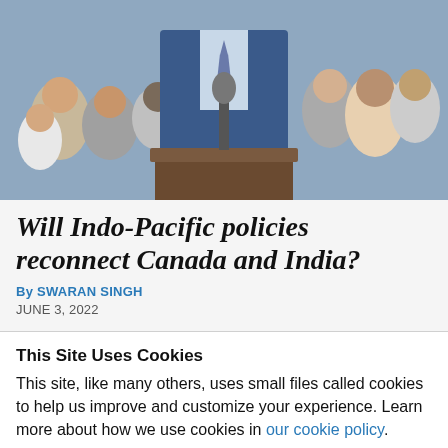[Figure (photo): A man in a dark blue suit speaking at a podium with a microphone, with a crowd of people in the background outdoors.]
Will Indo-Pacific policies reconnect Canada and India?
By SWARAN SINGH
JUNE 3, 2022
This Site Uses Cookies
This site, like many others, uses small files called cookies to help us improve and customize your experience. Learn more about how we use cookies in our cookie policy.
Learn more about cookies
OK